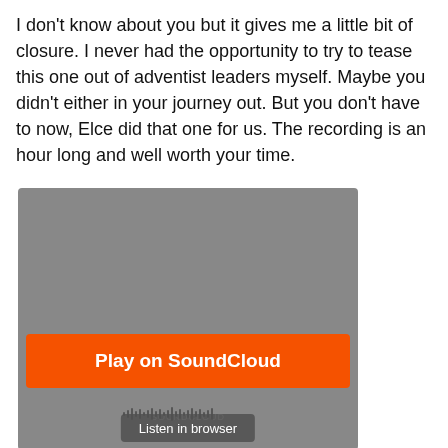I don't know about you but it gives me a little bit of closure. I never had the opportunity to try to tease this one out of adventist leaders myself. Maybe you didn't either in your journey out. But you don't have to now, Elce did that one for us. The recording is an hour long and well worth your time.
[Figure (screenshot): SoundCloud embedded player widget with gray background, orange 'Play on SoundCloud' button, waveform, and 'Listen in browser' button]